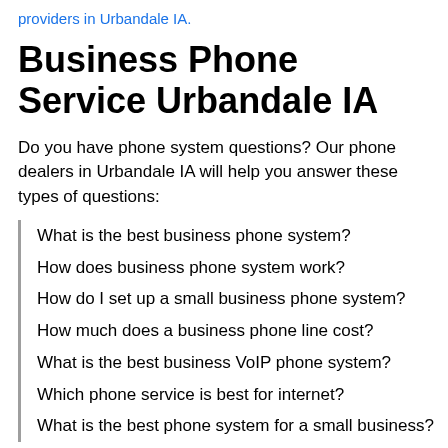providers in Urbandale IA.
Business Phone Service Urbandale IA
Do you have phone system questions? Our phone dealers in Urbandale IA will help you answer these types of questions:
What is the best business phone system?
How does business phone system work?
How do I set up a small business phone system?
How much does a business phone line cost?
What is the best business VoIP phone system?
Which phone service is best for internet?
What is the best phone system for a small business?